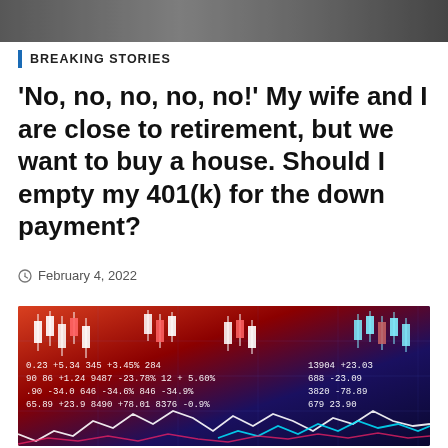[Figure (photo): Top partial image strip, gray/dark tones, cropped person or background]
BREAKING STORIES
'No, no, no, no, no!' My wife and I are close to retirement, but we want to buy a house. Should I empty my 401(k) for the down payment?
February 4, 2022
[Figure (photo): Stock market candlestick chart with financial ticker data overlaid on a red and dark blue background, with white and cyan line charts at the bottom]